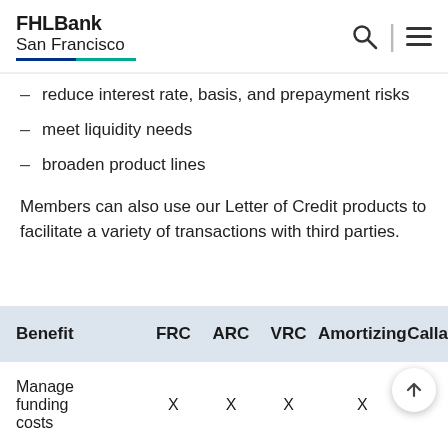FHLBank San Francisco
reduce interest rate, basis, and prepayment risks
meet liquidity needs
broaden product lines
Members can also use our Letter of Credit products to facilitate a variety of transactions with third parties.
| Benefit | FRC | ARC | VRC | Amortizing | Calla… |
| --- | --- | --- | --- | --- | --- |
| Manage funding costs | X | X | X | X |  |